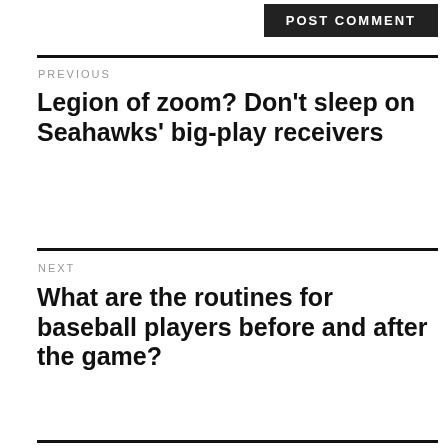POST COMMENT
PREVIOUS
Legion of zoom? Don't sleep on Seahawks' big-play receivers
NEXT
What are the routines for baseball players before and after the game?